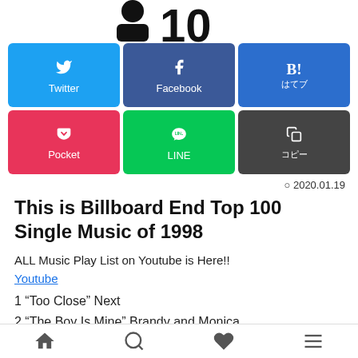[Figure (logo): Large stylized logo with person icon and '10' numerals in bold black]
[Figure (infographic): Six social share buttons in a 3x2 grid: Twitter (blue), Facebook (dark blue), Hatena B! (blue), Pocket (red), LINE (green), copy button (dark gray)]
2020.01.19
This is Billboard End Top 100 Single Music of 1998
ALL Music Play List on Youtube is Here!!
Youtube
1 “Too Close” Next
2 “The Boy Is Mine” Brandy and Monica
3 (partially visible, cut off)